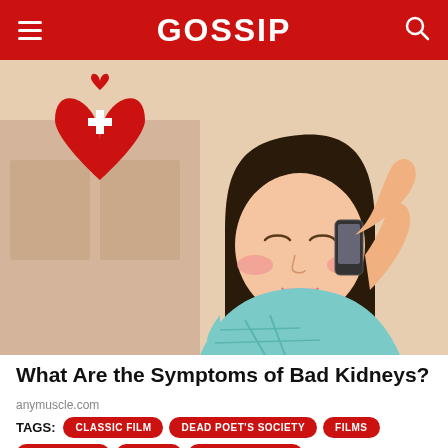GOSSIP
[Figure (illustration): Illustration of a woman looking distressed and talking on a phone, with a red heart medical cross icon on the left side background]
What Are the Symptoms of Bad Kidneys?
anymuscle.com
TAGS: CLASSIC FILM  DEAD POET'S SOCIETY  FILMS  HOLLYWOOD  MOVIES  ROBIN WILLIAMS